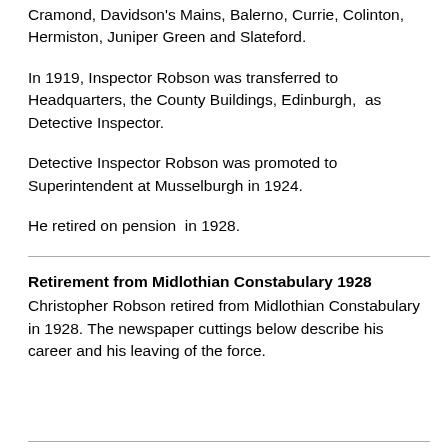Cramond, Davidson's Mains, Balerno, Currie, Colinton, Hermiston, Juniper Green and Slateford.
In 1919, Inspector Robson was transferred to Headquarters, the County Buildings, Edinburgh,  as Detective Inspector.
Detective Inspector Robson was promoted to Superintendent at Musselburgh in 1924.
He retired on pension  in 1928.
Retirement from Midlothian Constabulary 1928
Christopher Robson retired from Midlothian Constabulary in 1928. The newspaper cuttings below describe his career and his leaving of the force.